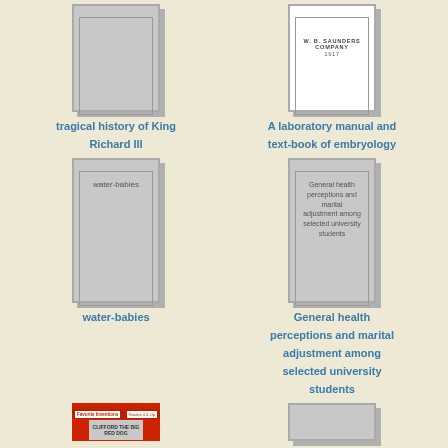[Figure (illustration): Book cover for 'tragical history of King Richard III' - gray cover with inner border, no image]
tragical history of King Richard III
[Figure (illustration): Book cover for 'A laboratory manual and text-book of embryology' - white cover with W. B. Saunders Company publisher text]
A laboratory manual and text-book of embryology
[Figure (illustration): Book cover for 'water-babies' - gray cover with inner border, text 'water-babies' inside]
water-babies
[Figure (illustration): Book cover for 'General health perceptions and marital adjustment among selected university students' - gray cover with inner border and title text inside]
General health perceptions and marital adjustment among selected university students
[Figure (illustration): Partial book cover at bottom left - red/orange colored cover with small text, partially visible]
[Figure (illustration): Partial book cover at bottom right - gray cover, partially visible]